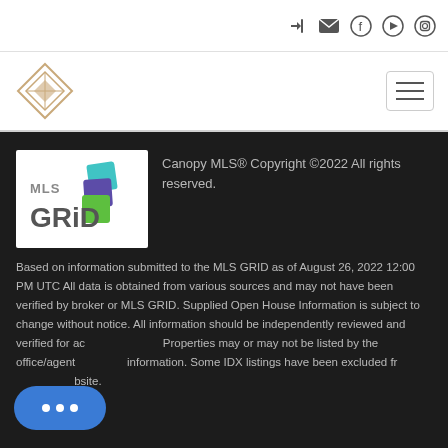Navigation icons: login, mail, facebook, youtube, instagram
[Figure (logo): Diamond-shaped realty company logo on the left; hamburger menu button on the right]
[Figure (logo): MLS GRID logo — white background with stacked teal, purple, and green squares]
Canopy MLS® Copyright ©2022 All rights reserved.
Based on information submitted to the MLS GRID as of August 26, 2022 12:00 PM UTC All data is obtained from various sources and may not have been verified by broker or MLS GRID. Supplied Open House Information is subject to change without notice. All information should be independently reviewed and verified for accuracy. Properties may or may not be listed by the office/agent presenting the information. Some IDX listings have been excluded from this website.